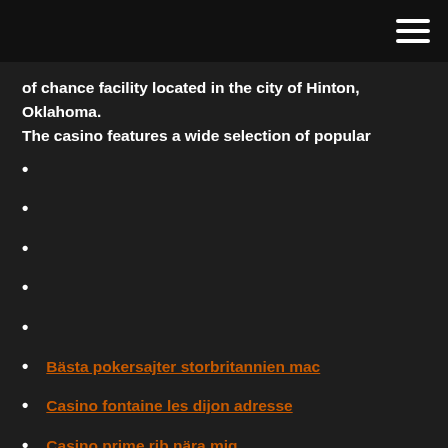of chance facility located in the city of Hinton, Oklahoma. The casino features a wide selection of popular
Bästa pokersajter storbritannien mac
Casino fontaine les dijon adresse
Casino prime rib nära mig
Google frukt spel gratis
Casino slots ingen insättning krävs
Gold ranch casino dayton nv
Insatser för pokerbordchipfack